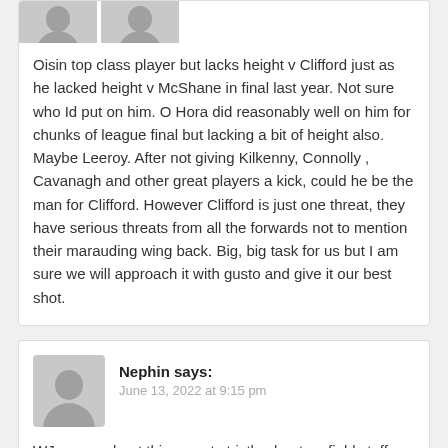Oisin top class player but lacks height v Clifford just as he lacked height v McShane in final last year. Not sure who Id put on him. O Hora did reasonably well on him for chunks of league final but lacking a bit of height also. Maybe Leeroy. After not giving Kilkenny, Connolly , Cavanagh and other great players a kick, could he be the man for Clifford. However Clifford is just one threat, they have serious threats from all the forwards not to mention their marauding wing back. Big, big task for us but I am sure we will approach it with gusto and give it our best shot.
Nephin says:
June 13, 2022 at 9:15 pm
WJ , sorry about this as not strictly about on field stuff, but I think it's important none the less. James Horan said on the podcast, that they traveled up on Saturday morning. Surely this could have contributed to the poor first half and I hope